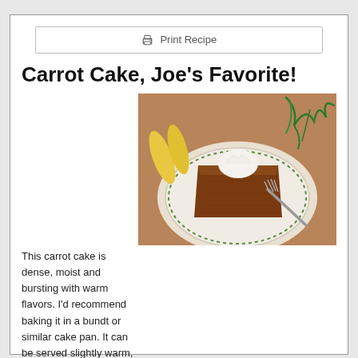Print Recipe
Carrot Cake, Joe's Favorite!
This carrot cake is dense, moist and bursting with warm flavors. I'd recommend baking it in a bundt or similar cake pan. It can be served slightly warm, with whipped cream, a little ice cream or your favorite cream cheese icing.
[Figure (photo): A slice of carrot cake topped with whipped cream on a decorative plate with a fork, with carrots and herbs in the background.]
Off label use: this makes a really great breakfast food!
Prep Time